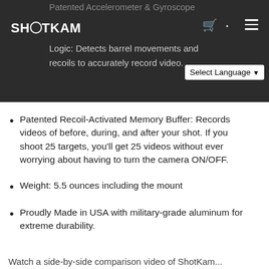ShotKam — Patented Accelerometer & Gyroscope Logic: Detects barrel movements and recoils to accurately record video.
Patented Recoil-Activated Memory Buffer: Records videos of before, during, and after your shot. If you shoot 25 targets, you'll get 25 videos without ever worrying about having to turn the camera ON/OFF.
Weight: 5.5 ounces including the mount
Proudly Made in USA with military-grade aluminum for extreme durability.
Watch a side-by-side comparison video of ShotKam...